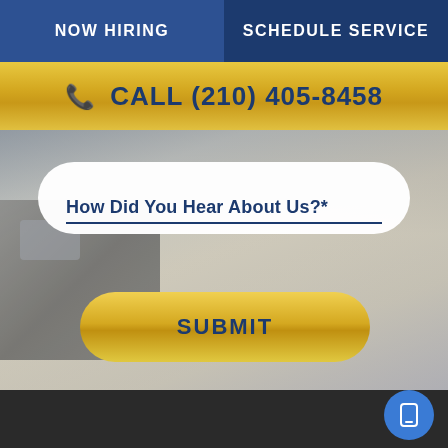NOW HIRING
SCHEDULE SERVICE
📞 CALL (210) 405-8458
[Figure (photo): Background photo of a bathroom or commercial interior space with counter, sink fixtures, and gray surfaces. Dark overlay applied.]
How Did You Hear About Us?*
SUBMIT
[Figure (illustration): Blue circular FAB button with white smartphone icon in bottom-right corner]